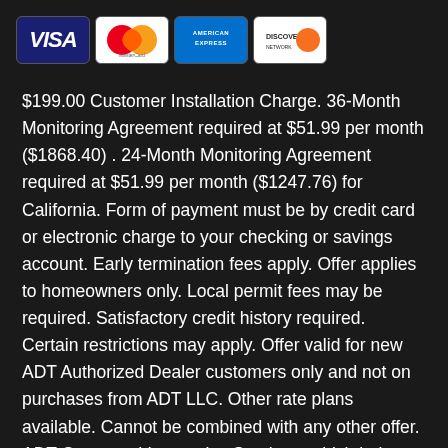[Figure (logo): Four payment method logos: VISA, MasterCard, American Express, Discover Network]
$199.00 Customer Installation Charge. 36-Month Monitoring Agreement required at $51.99 per month ($1868.40) . 24-Month Monitoring Agreement required at $51.99 per month ($1247.76) for California. Form of payment must be by credit card or electronic charge to your checking or savings account. Early termination fees apply. Offer applies to homeowners only. Local permit fees may be required. Satisfactory credit history required. Certain restrictions may apply. Offer valid for new ADT Authorized Dealer customers only and not on purchases from ADT LLC. Other rate plans available. Cannot be combined with any other offer. ADT Command Interactive Services, which help you manage your home environment and family lifestyle, requires the purchase and/or activation of an ADT alarm system with monitored burglary service